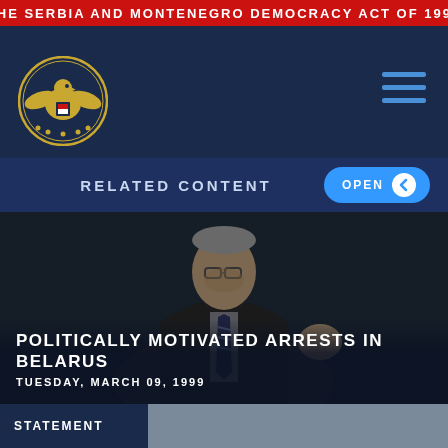THE SERBIA AND MONTENEGRO DEMOCRACY ACT OF 1999
[Figure (logo): Commission on Security and Cooperation in Europe seal/logo (gold eagle emblem on circular badge)]
RELATED CONTENT
[Figure (photo): Man in suit speaking at podium or hearing, dark background, video still]
POLITICALLY MOTIVATED ARRESTS IN BELARUS
TUESDAY, MARCH 09, 1999
STATEMENT